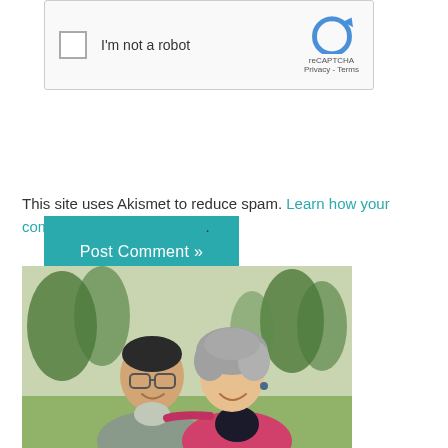[Figure (screenshot): reCAPTCHA widget with checkbox labeled 'I'm not a robot' and reCAPTCHA logo with Privacy and Terms links]
[Figure (other): Teal/green 'Post Comment »' button]
This site uses Akismet to reduce spam. Learn how your comment data is processed.
[Figure (photo): Outdoor photo of a smiling Asian man wearing glasses and a grey sweater, and a smiling woman with curly grey hair wearing a pink jacket, standing together in a park with trees in the background.]